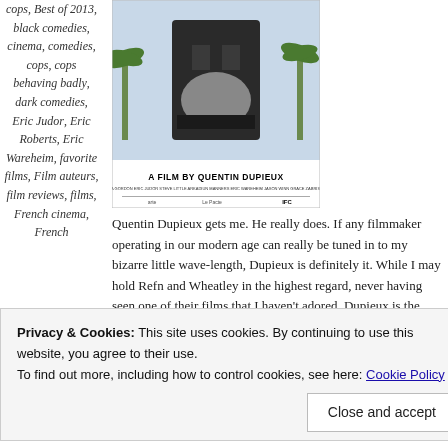cops, Best of 2013, black comedies, cinema, comedies, cops, cops behaving badly, dark comedies, Eric Judor, Eric Roberts, Eric Wareheim, favorite films, Film auteurs, film reviews, films, French cinema, French
[Figure (photo): Movie poster for a film by Quentin Dupieux, showing a person in police uniform with palm trees in background. Text reads 'A FILM BY QUENTIN DUPIEUX'. IFC and other distributor logos at bottom.]
Quentin Dupieux gets me. He really does. If any filmmaker operating in our modern age can really be tuned in to my bizarre little wave-length, Dupieux is definitely it. While I may hold Refn and Wheatley in the highest regard, never having seen one of their films that I haven't adored, Dupieux is the crackpot
Privacy & Cookies: This site uses cookies. By continuing to use this website, you agree to their use.
To find out more, including how to control cookies, see here: Cookie Policy
Close and accept